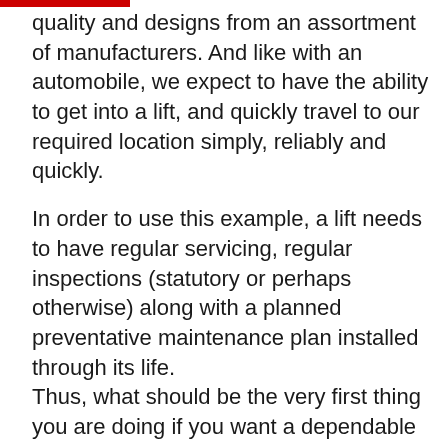quality and designs from an assortment of manufacturers. And like with an automobile, we expect to have the ability to get into a lift, and quickly travel to our required location simply, reliably and quickly.
In order to use this example, a lift needs to have regular servicing, regular inspections (statutory or perhaps otherwise) along with a planned preventative maintenance plan installed through its life. Thus, what should be the very first thing you are doing if you want a dependable lift? Develop a continuing maintenance plan.
Indeed, essentially. Developing a scheme for preventive maintenance will, nonetheless, help to make certain that your lift continues to run normally. Additionally, it has vital safety and regulatory requirements which you're forced to follow. This's essential to comply with your authorized